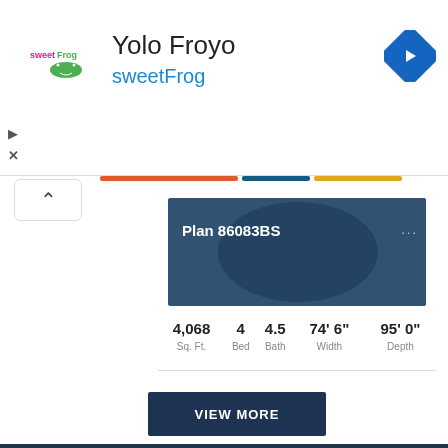[Figure (logo): sweetFrog advertisement banner with logo, title 'Yolo Froyo', subtitle 'sweetFrog', and navigation arrow icon]
Plan 86083BS
| 4,068 | 4 | 4.5 | 74' 6" | 95' 0" |
| --- | --- | --- | --- | --- |
| Sq. Ft. | Bed | Bath | Width | Depth |
VIEW MORE
[Figure (other): Dark navy blue footer section]